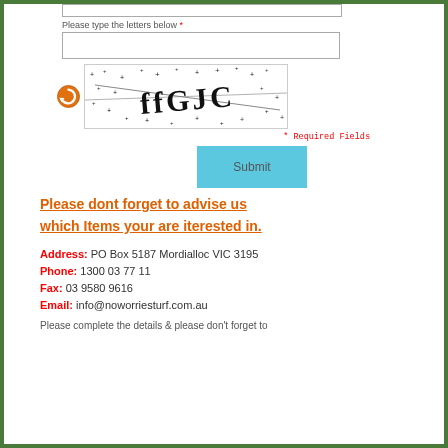Please type the letters below *
[Figure (screenshot): CAPTCHA image with distorted letters and a refresh/reload icon]
* Required Fields
Submit
Please dont forget to advise us
which Items your are iterested in.
Address: PO Box 5187 Mordialloc VIC 3195
Phone: 1300 03 77 11
Fax: 03 9580 9616
Email: info@noworriesturf.com.au
Please complete the details & please don't forget to